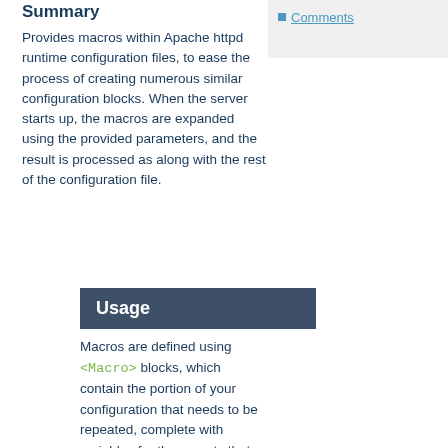Summary
Provides macros within Apache httpd runtime configuration files, to ease the process of creating numerous similar configuration blocks. When the server starts up, the macros are expanded using the provided parameters, and the result is processed as along with the rest of the configuration file.
Comments
Usage
Macros are defined using <Macro> blocks, which contain the portion of your configuration that needs to be repeated, complete with variables for those parts that will need to be substituted.